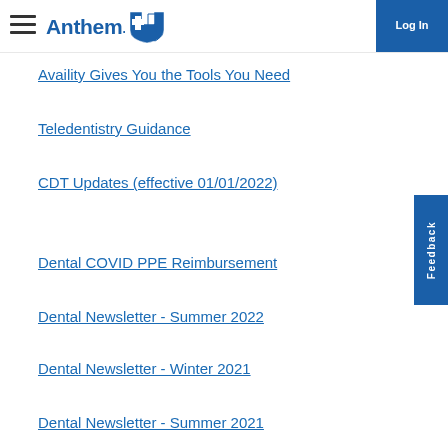Anthem Blue Cross Blue Shield - Log In
Availity Gives You the Tools You Need
Teledentistry Guidance
CDT Updates (effective 01/01/2022)
Dental COVID PPE Reimbursement
Dental Newsletter - Summer 2022
Dental Newsletter - Winter 2021
Dental Newsletter - Summer 2021